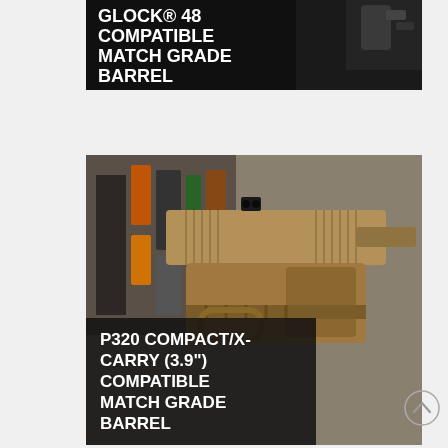[Figure (photo): Top portion of a product photo showing a GLOCK 48 compatible match grade barrel against a dark/black background, with text overlay reading 'GLOCK® 48 COMPATIBLE MATCH GRADE BARREL']
[Figure (photo): Photo of a tan/FDE colored P320 Compact/X-Carry pistol displayed on a rack in a gun store, with text overlay reading 'P320 COMPACT/X-CARRY (3.9") COMPATIBLE MATCH GRADE BARREL']